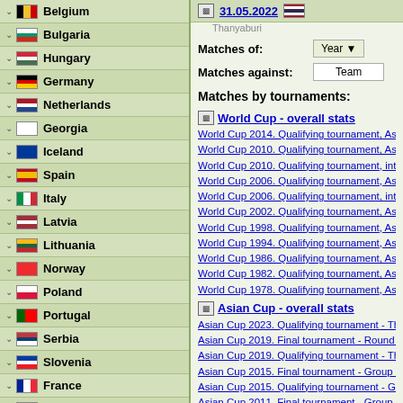Belgium
Bulgaria
Hungary
Germany
Netherlands
Georgia
Iceland
Spain
Italy
Latvia
Lithuania
Norway
Poland
Portugal
Serbia
Slovenia
France
Croatia
31.05.2022 Thanyaburi
Matches of: Year
Matches against: Team
Matches by tournaments:
World Cup - overall stats
World Cup 2014. Qualifying tournament, Asia - T...
World Cup 2010. Qualifying tournament, Asia - R...
World Cup 2010. Qualifying tournament, intercontinental...
World Cup 2006. Qualifying tournament, Asia - P...
World Cup 2006. Qualifying tournament, intercontinental...
World Cup 2002. Qualifying tournament, Asia - S...
World Cup 1998. Qualifying tournament, Asia - R...
World Cup 1994. Qualifying tournament, Asia - G...
World Cup 1986. Qualifying tournament, Asia - G...
World Cup 1982. Qualifying tournament, Asia and...
World Cup 1978. Qualifying tournament, Asia and...
Asian Cup - overall stats
Asian Cup 2023. Qualifying tournament - Third round
Asian Cup 2019. Final tournament - Round of 16
Asian Cup 2019. Qualifying tournament - Third round
Asian Cup 2015. Final tournament - Group C - phase
Asian Cup 2015. Qualifying tournament - Group
Asian Cup 2011. Final tournament - Group C - phase
Asian Cup 2011. Qualifying tournament - Group
Asian Cup 2007. Final tournament - Group D - phase
Asian Cup 2007. Qualifying tournament - Group
Asian Cup 2004. Final tournament - place 4
Asian Cup 2004. Qualifying tournament - Group
Asian Cup 2000. Qualifying tournament - Group
Asian Cup 1992. Qualifying tournament - Group
Asian Cup 1988. Final tournament - Group 2 - phase
Asian Cup 1988. Qualifying tournament - Group